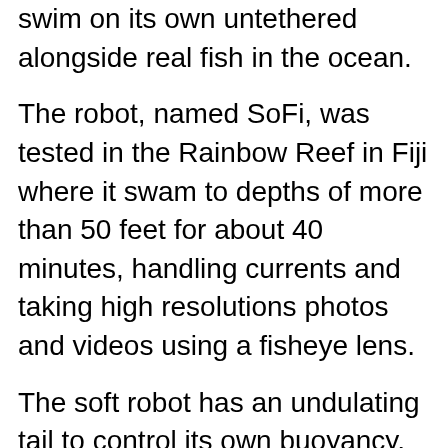swim on its own untethered alongside real fish in the ocean.
The robot, named SoFi, was tested in the Rainbow Reef in Fiji where it swam to depths of more than 50 feet for about 40 minutes, handling currents and taking high resolutions photos and videos using a fisheye lens.
The soft robot has an undulating tail to control its own buoyancy, allowing it to swim in a straight line, turn or dive up or down. The team also waterproofed a Super Nintendo controller and developed a custom communications system to change the robot's speed and make specific turns. SoFi is the first robotic fish that